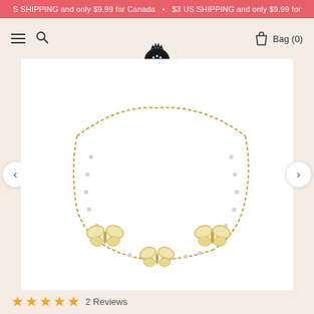S SHIPPING and only $9.99 for Canada  •  $3 US SHIPPING and only $9.99 for
[Figure (screenshot): E-commerce website navigation bar with hamburger menu, search icon, pomegranate logo in center, and Bag (0) on the right, on a warm beige background]
[Figure (photo): Product photo of a gold butterfly charm necklace with three butterfly pendants and small white/grey beads on a gold chain, displayed on white background with left and right navigation arrows]
2 Reviews